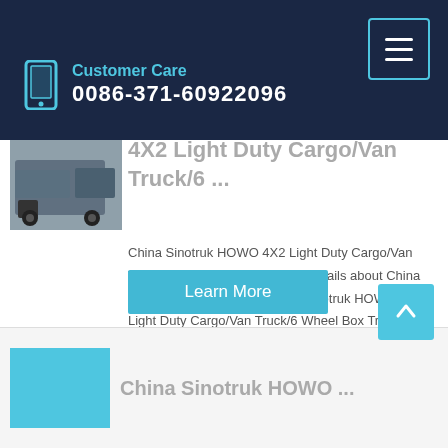Customer Care 0086-371-60922096
4X2 Light Duty Cargo/Van Truck/6 ...
China Sinotruk HOWO 4X2 Light Duty Cargo/Van Truck/6 Wheel Box Truck, Find details about China Light Truck, Cargo Truck from Sinotruk HOWO 4X2 Light Duty Cargo/Van Truck/6 Wheel Box Truck - Sinotruk Hubei Huawin Imp. & Exp. Co., Ltd.
Learn More
China Sinotruk HOWO ...